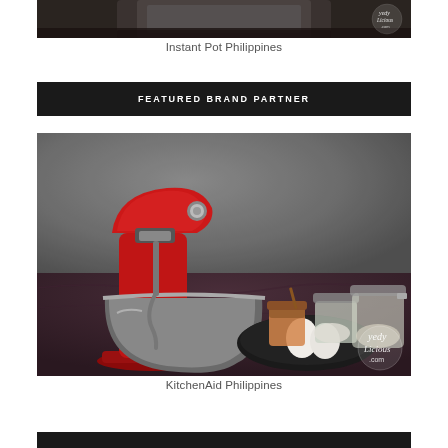[Figure (photo): Partial top view of an Instant Pot pressure cooker, dark metallic appliance on dark surface, with a YedyLicious.com watermark in the top right corner]
Instant Pot Philippines
FEATURED BRAND PARTNER
[Figure (photo): Red KitchenAid stand mixer on a dark purple/mauve fabric surface, with a stainless steel bowl. Beside the mixer are glass jars with spices/ingredients and a dark plate with eggs and other baking items. YedyLicious.com watermark in the bottom right corner. Dark moody atmosphere.]
KitchenAid Philippines